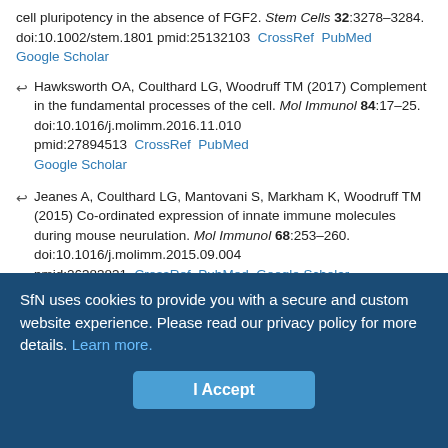cell pluripotency in the absence of FGF2. Stem Cells 32:3278–3284. doi:10.1002/stem.1801 pmid:25132103  CrossRef  PubMed  Google Scholar
Hawksworth OA, Coulthard LG, Woodruff TM (2017) Complement in the fundamental processes of the cell. Mol Immunol 84:17–25. doi:10.1016/j.molimm.2016.11.010 pmid:27894513  CrossRef  PubMed  Google Scholar
Jeanes A, Coulthard LG, Mantovani S, Markham K, Woodruff TM (2015) Co-ordinated expression of innate immune molecules during mouse neurulation. Mol Immunol 68:253–260. doi:10.1016/j.molimm.2015.09.004 pmid:26383831  CrossRef  PubMed  Google Scholar
Jones DK, Horsfield MA, Simmons A (1999) Optimal strategies for measuring diffusion in anisotropic systems by magnetic resonance imaging. Magn Reson Med 42:515–525. doi:10.1002/(SICI)1522-
SfN uses cookies to provide you with a secure and custom website experience. Please read our privacy policy for more details. Learn more.